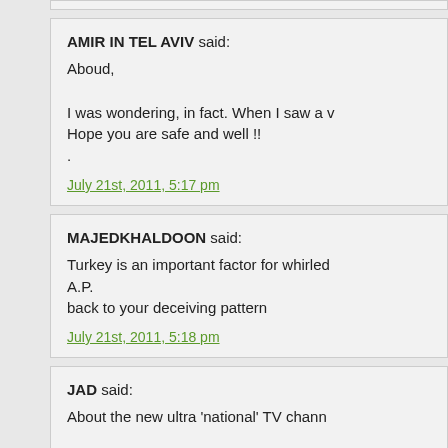AMIR IN TEL AVIV said:
Aboud,
I was wondering, in fact. When I saw a v
Hope you are safe and well !!
.
July 21st, 2011, 5:17 pm
MAJEDKHALDOON said:
Turkey is an important factor for whirled
A.P.
back to your deceiving pattern
July 21st, 2011, 5:18 pm
JAD said:
About the new ultra 'national' TV channe
A.N.N شبكة أخبار حلب
Arabic text content...